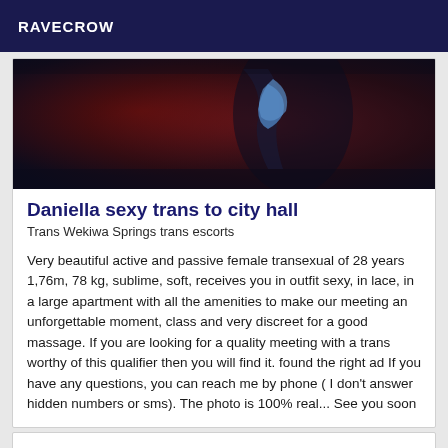RAVECROW
[Figure (photo): Dark reddish photo, partial view of a figure against a dark background with red and dark tones]
Daniella sexy trans to city hall
Trans Wekiwa Springs trans escorts
Very beautiful active and passive female transexual of 28 years 1,76m, 78 kg, sublime, soft, receives you in outfit sexy, in lace, in a large apartment with all the amenities to make our meeting an unforgettable moment, class and very discreet for a good massage. If you are looking for a quality meeting with a trans worthy of this qualifier then you will find it. found the right ad If you have any questions, you can reach me by phone ( I don't answer hidden numbers or sms). The photo is 100% real... See you soon